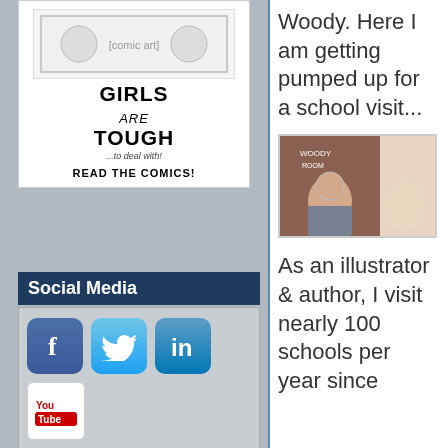[Figure (illustration): Girls Are Tough comic panel and logo with text READ THE COMICS!]
Social Media
[Figure (infographic): Social media icons: Facebook, Twitter, LinkedIn, YouTube]
Woody. Here I am getting pumped up for a school visit...
[Figure (photo): Photo of Woody at a school visit event]
As an illustrator & author, I visit nearly 100 schools per year since